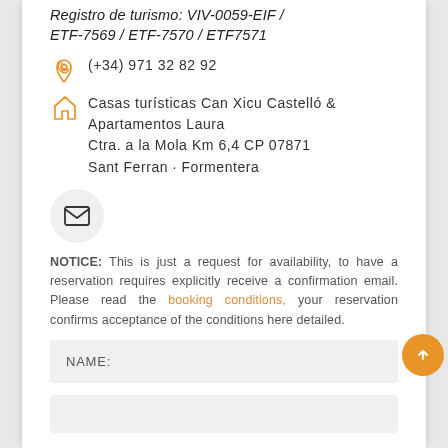Registro de turismo: VIV-0059-EIF / ETF-7569 / ETF-7570 / ETF7571
(+34) 971 32 82 92
Casas turísticas Can Xicu Castelló & Apartamentos Laura
Ctra. a la Mola Km 6,4 CP 07871
Sant Ferran · Formentera
[Figure (other): Email envelope icon inside a light gray circle]
NOTICE: This is just a request for availability, to have a reservation requires explicitly receive a confirmation email. Please read the booking conditions, your reservation confirms acceptance of the conditions here detailed.
NAME: